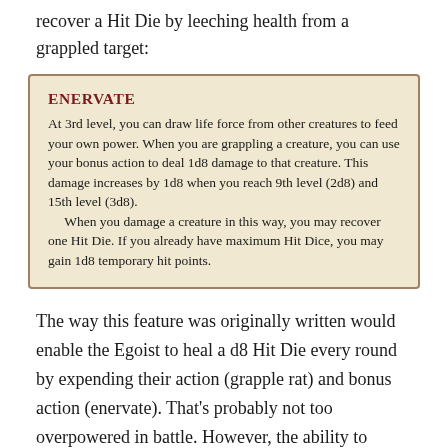recover a Hit Die by leeching health from a grappled target:
The way this feature was originally written would enable the Egoist to heal a d8 Hit Die every round by expending their action (grapple rat) and bonus action (enervate). That's probably not too overpowered in battle. However, the ability to instaheal using rats as potions after every encounter is likely gamebreaking. So how to we fix it?